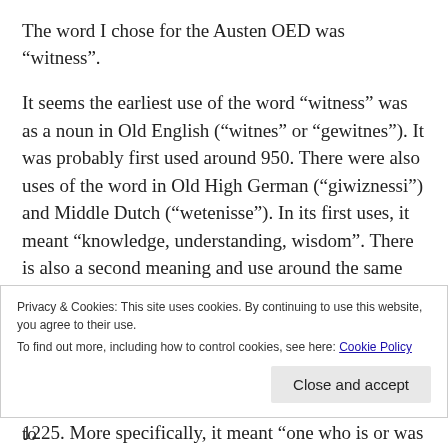The word I chose for the Austen OED was “witness”.
It seems the earliest use of the word “witness” was as a noun in Old English (“witnes” or “gewitnes”). It was probably first used around 950. There were also uses of the word in Old High German (“giwiznessi”) and Middle Dutch (“wetenisse”). In its first uses, it meant “knowledge, understanding, wisdom”. There is also a second meaning and use around the same time, meaning “attestation of a fact, event, or statement; testimony, evidence” as well as “evidence given in a court of justice”. Interestingly, it was used quite frequently in the Bible, using both these and other meanings. Most commonly, it seemed be used to
Privacy & Cookies: This site uses cookies. By continuing to use this website, you agree to their use.
To find out more, including how to control cookies, see here: Cookie Policy
1225. More specifically, it meant “one who is or was